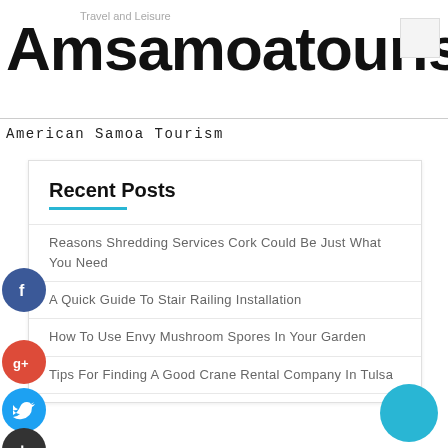Travel and Leisure
Amsamoatourism
American Samoa Tourism
Recent Posts
Reasons Shredding Services Cork Could Be Just What You Need
A Quick Guide To Stair Railing Installation
How To Use Envy Mushroom Spores In Your Garden
Tips For Finding A Good Crane Rental Company In Tulsa